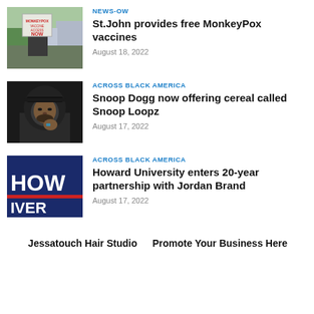[Figure (photo): Person holding a protest sign reading 'MonkeyPox Vaccine Access NOW']
NEWS-OW
St.John provides free MonkeyPox vaccines
August 18, 2022
[Figure (photo): Snoop Dogg wearing a hoodie and posing with jewelry]
ACROSS BLACK AMERICA
Snoop Dogg now offering cereal called Snoop Loopz
August 17, 2022
[Figure (logo): Howard University logo with text 'HOWARD UNIVERSITY' on dark blue background]
ACROSS BLACK AMERICA
Howard University enters 20-year partnership with Jordan Brand
August 17, 2022
Jessatouch Hair Studio
Promote Your Business Here